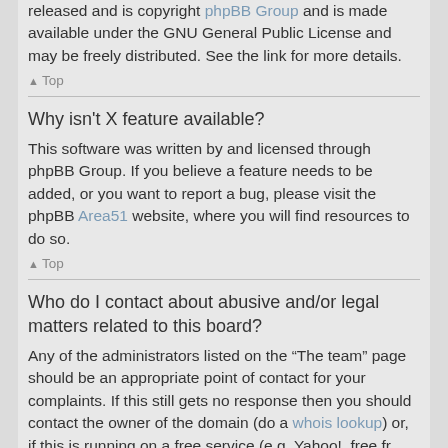released and is copyright phpBB Group and is made available under the GNU General Public License and may be freely distributed. See the link for more details.
▲ Top
Why isn't X feature available?
This software was written by and licensed through phpBB Group. If you believe a feature needs to be added, or you want to report a bug, please visit the phpBB Area51 website, where you will find resources to do so.
▲ Top
Who do I contact about abusive and/or legal matters related to this board?
Any of the administrators listed on the "The team" page should be an appropriate point of contact for your complaints. If this still gets no response then you should contact the owner of the domain (do a whois lookup) or, if this is running on a free service (e.g. Yahoo!, free.fr, f2s.com, etc.), the management or abuse department of that service. Please note that